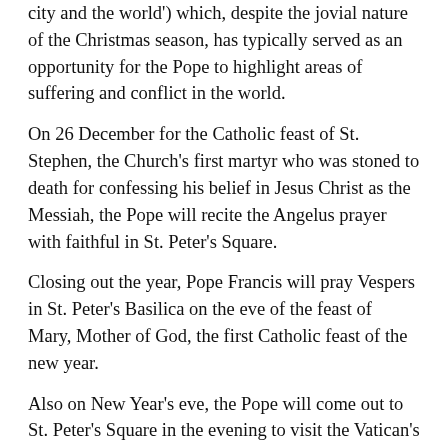city and the world') which, despite the jovial nature of the Christmas season, has typically served as an opportunity for the Pope to highlight areas of suffering and conflict in the world.
On 26 December for the Catholic feast of St. Stephen, the Church's first martyr who was stoned to death for confessing his belief in Jesus Christ as the Messiah, the Pope will recite the Angelus prayer with faithful in St. Peter's Square.
Closing out the year, Pope Francis will pray Vespers in St. Peter's Basilica on the eve of the feast of Mary, Mother of God, the first Catholic feast of the new year.
Also on New Year's eve, the Pope will come out to St. Peter's Square in the evening to visit the Vatican's nativity set, which this year is made entirely of sand. Afterwards, he'll greet the working staff of the Vatican City State.
The next day, 1 January, Francis will celebrate Mass for Mary, Mother of God - one of the most important Marian feasts on the liturgical calendar, which also marks the international World Day for Peace, with the theme, “Good politics is at the service of peace."